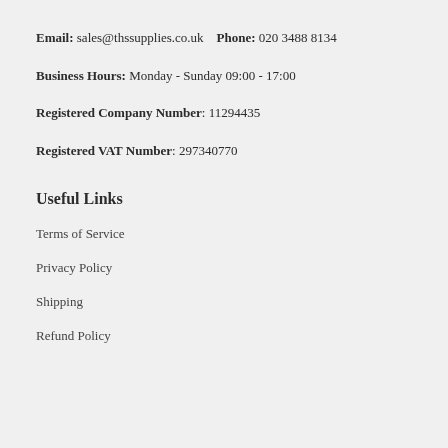Email: sales@thssupplies.co.uk   Phone: 020 3488 8134
Business Hours: Monday - Sunday 09:00 - 17:00
Registered Company Number: 11294435
Registered VAT Number: 297340770
Useful Links
Terms of Service
Privacy Policy
Shipping
Refund Policy